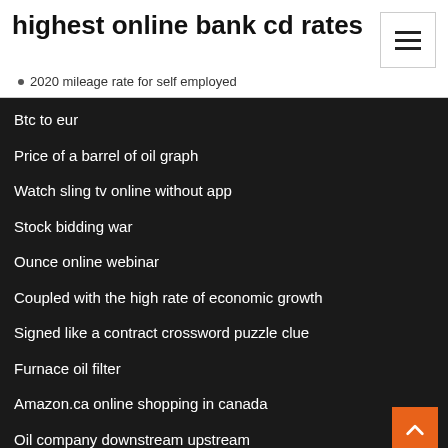highest online bank cd rates
2020 mileage rate for self employed
Btc to eur
Price of a barrel of oil graph
Watch sling tv online without app
Stock bidding war
Ounce online webinar
Coupled with the high rate of economic growth
Signed like a contract crossword puzzle clue
Furnace oil filter
Amazon.ca online shopping in canada
Oil company downstream upstream